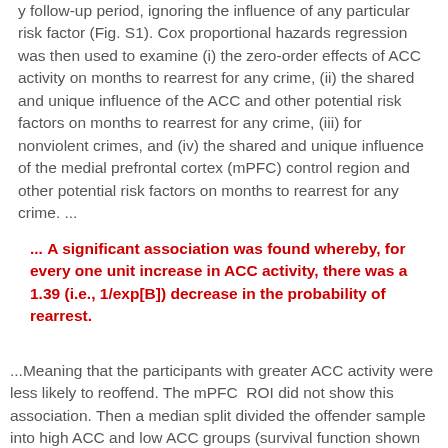y follow-up period, ignoring the influence of any particular risk factor (Fig. S1). Cox proportional hazards regression was then used to examine (i) the zero-order effects of ACC activity on months to rearrest for any crime, (ii) the shared and unique influence of the ACC and other potential risk factors on months to rearrest for any crime, (iii) for nonviolent crimes, and (iv) the shared and unique influence of the medial prefrontal cortex (mPFC) control region and other potential risk factors on months to rearrest for any crime. ...
... A significant association was found whereby, for every one unit increase in ACC activity, there was a 1.39 (i.e., 1/exp[B]) decrease in the probability of rearrest.
...Meaning that the participants with greater ACC activity were less likely to reoffend. The mPFC  ROI did not show this association. Then a median split divided the offender sample into high ACC and low ACC groups (survival function shown below).